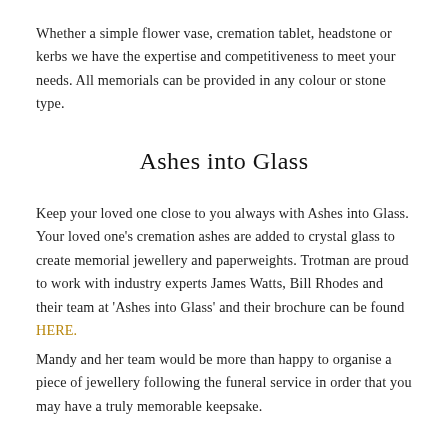Whether a simple flower vase, cremation tablet, headstone or kerbs we have the expertise and competitiveness to meet your needs. All memorials can be provided in any colour or stone type.
Ashes into Glass
Keep your loved one close to you always with Ashes into Glass. Your loved one's cremation ashes are added to crystal glass to create memorial jewellery and paperweights. Trotman are proud to work with industry experts James Watts, Bill Rhodes and their team at 'Ashes into Glass' and their brochure can be found HERE.
Mandy and her team would be more than happy to organise a piece of jewellery following the funeral service in order that you may have a truly memorable keepsake.